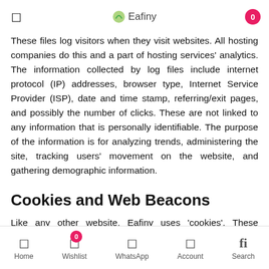Eafiny
These files log visitors when they visit websites. All hosting companies do this and a part of hosting services' analytics. The information collected by log files include internet protocol (IP) addresses, browser type, Internet Service Provider (ISP), date and time stamp, referring/exit pages, and possibly the number of clicks. These are not linked to any information that is personally identifiable. The purpose of the information is for analyzing trends, administering the site, tracking users' movement on the website, and gathering demographic information.
Cookies and Web Beacons
Like any other website, Eafiny uses 'cookies'. These cookies are used to store information including visitors' preferences, and the pages on the website that the
Home  Wishlist  WhatsApp  Account  Search